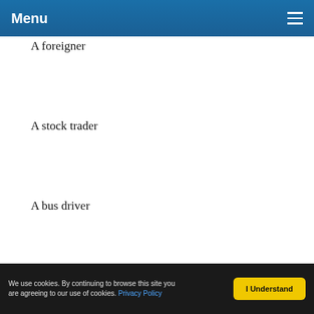Menu
A foreigner
A stock trader
A bus driver
A singer
We use cookies. By continuing to browse this site you are agreeing to our use of cookies. Privacy Policy